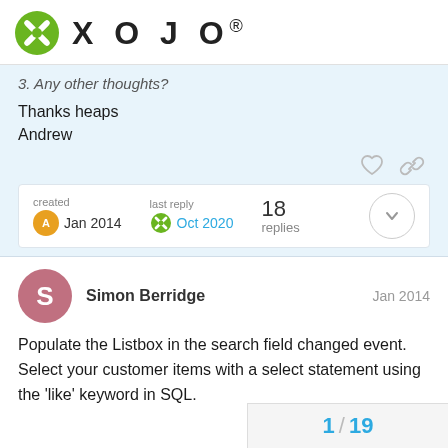XOJO
3. Any other thoughts?
Thanks heaps
Andrew
created Jan 2014   last reply Oct 2020   18 replies
Simon Berridge   Jan 2014
Populate the Listbox in the search field changed event. Select your customer items with a select statement using the 'like' keyword in SQL.
1 / 19